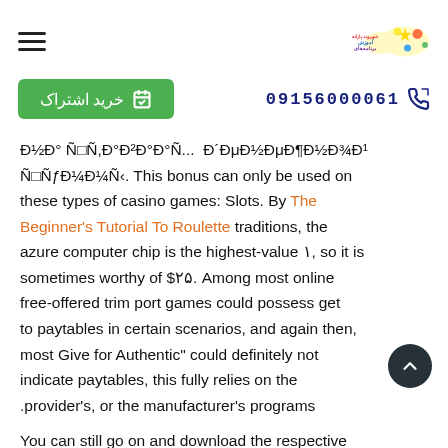hamburger menu icon + logo/brand image
خرید اشتراک  09156000061
Đ½Đ° Ñ□Ñ,Đ°Đ²Đ°Đ°Ñ... Đ´ĐμĐ½ĐμĐ¶Đ½Đ¾Đ¹ Ñ□ÑƒĐ¼Đ¼Ñ‹. This bonus can only be used on these types of casino games: Slots. By The Beginner's Tutorial To Roulette traditions, the azure computer chip is the highest-value ١, so it is sometimes worthy of $٢۵. Among most online free-offered trim port games could possess get to paytables in certain scenarios, and again then, most Give for Authentic" could definitely not indicate paytables, this fully relies on the .provider's, or the manufacturer's programs
You can still go on and download the respective apps from the mobile gambling sites directly